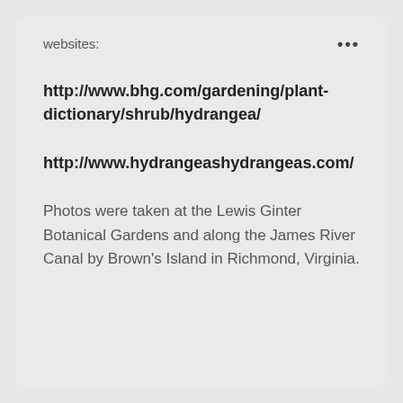websites:
http://www.bhg.com/gardening/plant-dictionary/shrub/hydrangea/
http://www.hydrangeashydrangeas.com/
Photos were taken at the Lewis Ginter Botanical Gardens and along the James River Canal by Brown's Island in Richmond, Virginia.